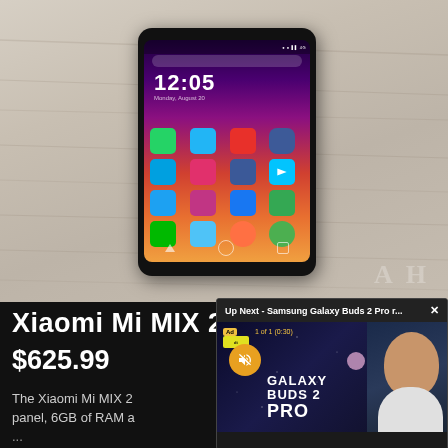[Figure (screenshot): Screenshot of a webpage showing a Xiaomi Mi MIX 2 smartphone on a wooden surface, with an 'Up Next - Samsung Galaxy Buds 2 Pro r...' video overlay in the bottom right corner showing an ad for Galaxy Buds 2 Pro. The main phone image shows the device's screen displaying time 12:05 with app icons. Below the main image is text showing the product title, price $625.99, and a description of the Xiaomi Mi MIX 2.]
Xiaomi Mi MIX 2
$625.99
The Xiaomi Mi MIX 2 panel, 6GB of RAM an